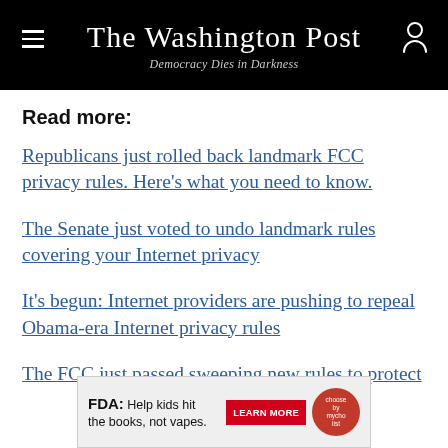The Washington Post — Democracy Dies in Darkness
Read more:
Republicans just rolled back landmark FCC privacy rules. Here's what you need to know.
The Senate just voted to undo landmark rules covering your Internet privacy
It's begun: Internet providers are pushing to repeal Obama-era Internet privacy rules
The FCC just passed sweeping new rules to protect
[Figure (infographic): FDA advertisement banner: 'FDA: Help kids hit the books, not vapes.' with a LEARN MORE red button and a circular badge logo.]